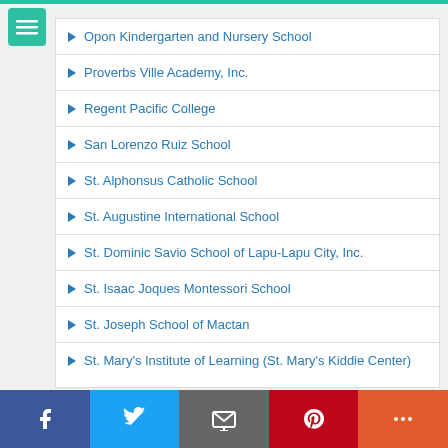Opon Kindergarten and Nursery School
Proverbs Ville Academy, Inc.
Regent Pacific College
San Lorenzo Ruiz School
St. Alphonsus Catholic School
St. Augustine International School
St. Dominic Savio School of Lapu-Lapu City, Inc.
St. Isaac Joques Montessori School
St. Joseph School of Mactan
St. Mary's Institute of Learning (St. Mary's Kiddie Center)